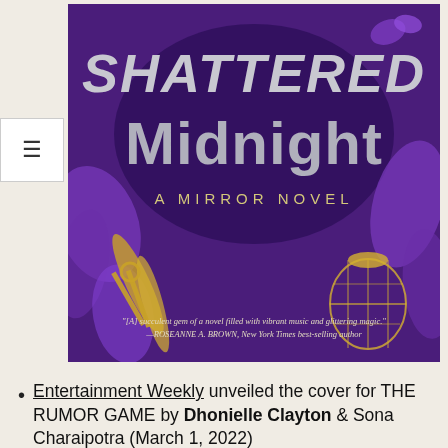[Figure (illustration): Book cover for 'Shattered Midnight: A Mirror Novel' showing large silver stylized text on a purple background with floral and feather decorations, a golden birdcage, and a quote at the bottom: '[A] succulent gem of a novel filled with vibrant music and glittering magic. —ROSEANNE A. BROWN, New York Times best-selling author']
Entertainment Weekly unveiled the cover for THE RUMOR GAME by Dhonielle Clayton & Sona Charaipotra (March 1, 2022)